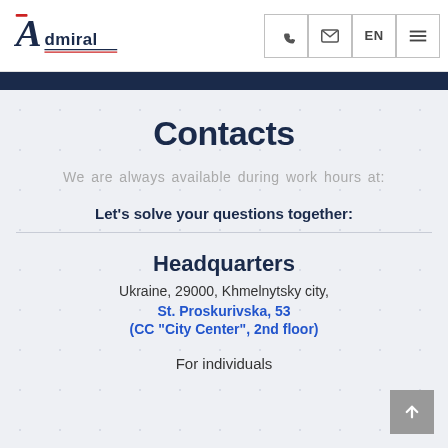[Figure (logo): Admiral insurance company logo with stylized A and underline]
Contacts
We are always available during work hours at:
Let's solve your questions together:
Headquarters
Ukraine, 29000, Khmelnytsky city,
St. Proskurivska, 53
(CC "City Center", 2nd floor)
For individuals